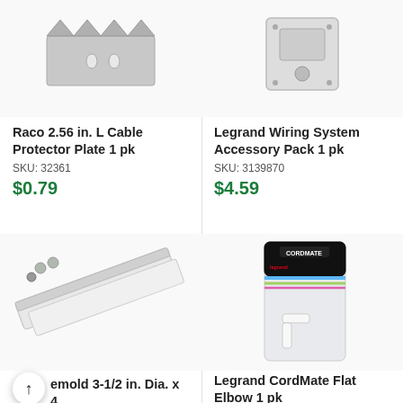[Figure (photo): Raco cable protector plate product image - metal serrated plate]
Raco 2.56 in. L Cable Protector Plate 1 pk
SKU: 32361
$0.79
[Figure (photo): Legrand Wiring System Accessory Pack product image]
Legrand Wiring System Accessory Pack 1 pk
SKU: 3139870
$4.59
[Figure (photo): Wiremold 3-1/2 in. Dia. x 4 ft. cord cover product image - white channel with screws]
[Figure (photo): Legrand CordMate Flat Elbow product image - white flat elbow in blister packaging]
Wiremold 3-1/2 in. Dia. x 4 ft. Cord Cover...
Legrand CordMate Flat Elbow 1 pk